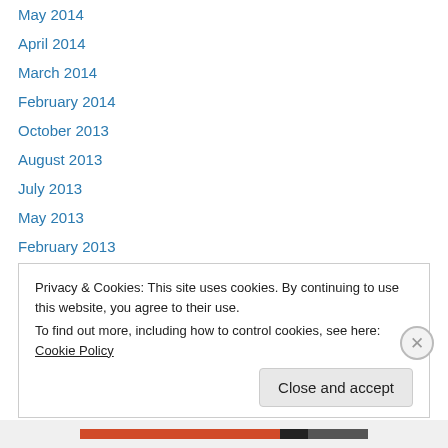May 2014
April 2014
March 2014
February 2014
October 2013
August 2013
July 2013
May 2013
February 2013
January 2013
October 2012
September 2012
July 2012
Privacy & Cookies: This site uses cookies. By continuing to use this website, you agree to their use.
To find out more, including how to control cookies, see here: Cookie Policy
Close and accept